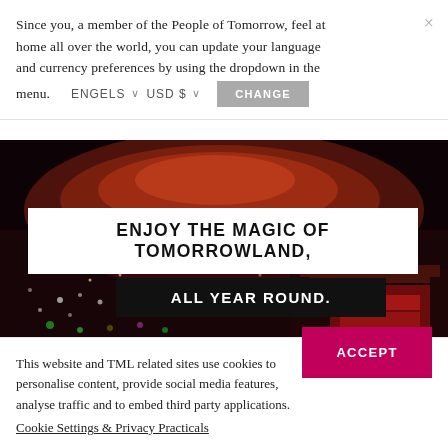Since you, a member of the People of Tomorrow, feel at home all over the world, you can update your language and currency preferences by using the dropdown in the menu. ENGELS ∨ USD $ ∨ CHANGE
[Figure (photo): Aerial view of a large festival crowd at night with reddish-orange lights illuminating the crowd and a stage structure visible]
ENJOY THE MAGIC OF TOMORROWLAND,
ALL YEAR ROUND.
This website and TML related sites use cookies to personalise content, provide social media features, analyse traffic and to embed third party applications.
Cookie Settings & Privacy Practicals